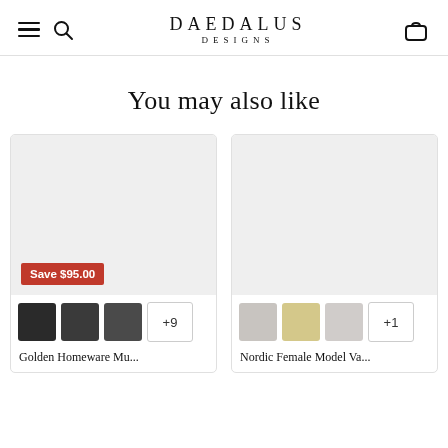DAEDALUS DESIGNS
You may also like
[Figure (photo): Product card for a mug set with 'Save $95.00' badge and three dark thumbnail images plus '+9' more indicator]
[Figure (photo): Product card for Nordic Female Model Vase with three grey/white figurine thumbnail images plus '+1' more indicator]